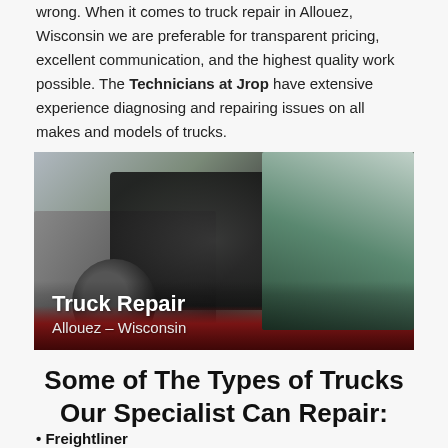wrong. When it comes to truck repair in Allouez, Wisconsin we are preferable for transparent pricing, excellent communication, and the highest quality work possible. The Technicians at Jrop have extensive experience diagnosing and repairing issues on all makes and models of trucks.
[Figure (photo): A truck being repaired in a garage workshop, with engine components exposed and the frame visible. Text overlay reads 'Truck Repair' and 'Allouez – Wisconsin'.]
Some of The Types of Trucks Our Specialist Can Repair:
Freightliner